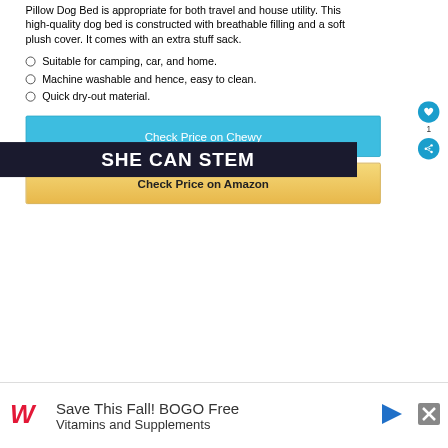Pillow Dog Bed is appropriate for both travel and house utility. This high-quality dog bed is constructed with breathable filling and a soft plush cover. It comes with an extra stuff sack.
Suitable for camping, car, and home.
Machine washable and hence, easy to clean.
Quick dry-out material.
Check Price on Chewy
Check Price on Amazon
SHE CAN STEM
Save This Fall! BOGO Free Vitamins and Supplements